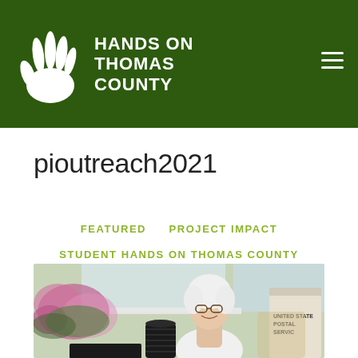HANDS ON THOMAS COUNTY
pioutreach2021
FEATURED   PROJECT IMPACT   STUDENT HANDS ON THOMAS COUNTY
[Figure (photo): Elderly woman with white hair and glasses smiling, seated near pink flowers (geraniums) on a porch or sunroom. A black ridged vase is in the foreground. A United States Postal Service tote bag is visible on the right side.]